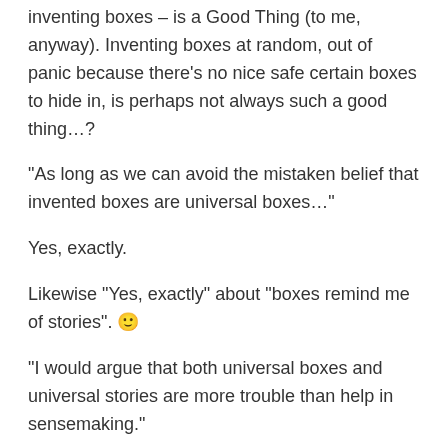inventing boxes – is a Good Thing (to me, anyway). Inventing boxes at random, out of panic because there's no nice safe certain boxes to hide in, is perhaps not always such a good thing…?
“As long as we can avoid the mistaken belief that invented boxes are universal boxes…”
Yes, exactly.
Likewise “Yes, exactly” about “boxes remind me of stories”. 🙂
“I would argue that both universal boxes and universal stories are more trouble than help in sensemaking.”